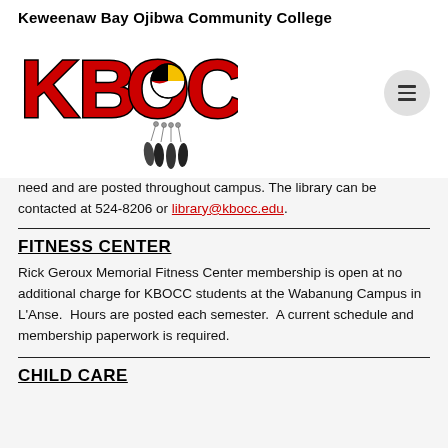[Figure (logo): KBOCC logo with 'Keweenaw Bay Ojibwa Community College' text above stylized KBOCC letters in red and yellow with a medicine wheel in the O and dreamcatcher feathers hanging below]
need and are posted throughout campus. The library can be contacted at 524-8206 or library@kbocc.edu.
FITNESS CENTER
Rick Geroux Memorial Fitness Center membership is open at no additional charge for KBOCC students at the Wabanung Campus in L'Anse.  Hours are posted each semester.  A current schedule and membership paperwork is required.
CHILD CARE